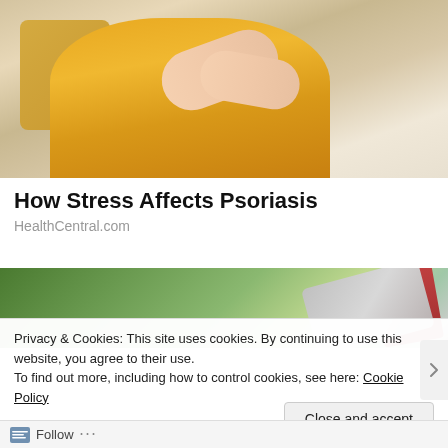[Figure (photo): A person in a yellow knit sweater scratching or holding their arm, sitting on a couch with yellow pillows in the background.]
How Stress Affects Psoriasis
HealthCentral.com
[Figure (photo): A blurred photo showing what appears to be a tablet or book on a green and light background.]
Privacy & Cookies: This site uses cookies. By continuing to use this website, you agree to their use.
To find out more, including how to control cookies, see here: Cookie Policy
Close and accept
Follow